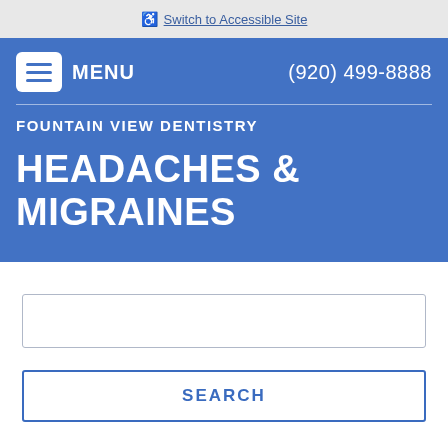♿ Switch to Accessible Site
FOUNTAIN VIEW DENTISTRY
HEADACHES & MIGRAINES
(920) 499-8888
SEARCH